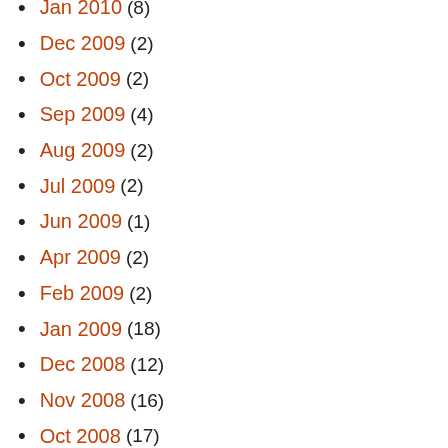Jan 2010 (8)
Dec 2009 (2)
Oct 2009 (2)
Sep 2009 (4)
Aug 2009 (2)
Jul 2009 (2)
Jun 2009 (1)
Apr 2009 (2)
Feb 2009 (2)
Jan 2009 (18)
Dec 2008 (12)
Nov 2008 (16)
Oct 2008 (17)
Sep 2008 (5)
Aug 2008 (11)
Jul 2008 (15)